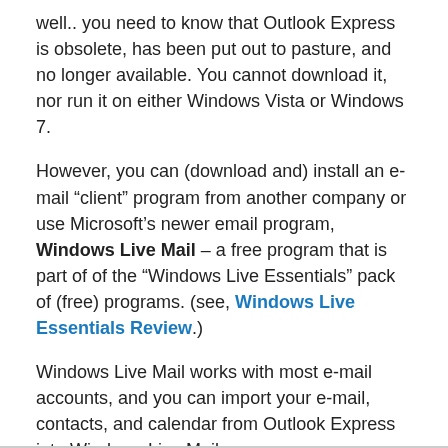well.. you need to know that Outlook Express is obsolete, has been put out to pasture, and no longer available. You cannot download it, nor run it on either Windows Vista or Windows 7.
However, you can (download and) install an e-mail “client” program from another company or use Microsoft’s newer email program, Windows Live Mail – a free program that is part of of the “Windows Live Essentials” pack of (free) programs. (see, Windows Live Essentials Review.)
Windows Live Mail works with most e-mail accounts, and you can import your e-mail, contacts, and calendar from Outlook Express into Windows Live Mail.
[Figure (illustration): Broken image placeholder icon followed by a blue link text reading 'Picture of Windows Live Mail']